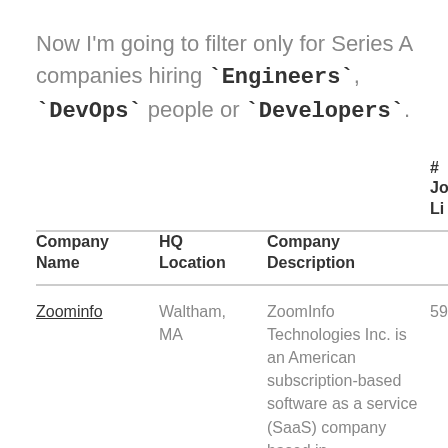Now I'm going to filter only for Series A companies hiring `Engineers`, `DevOps` people or `Developers`.
| Company Name | HQ Location | Company Description | # Jo Li |
| --- | --- | --- | --- |
| Zoominfo | Waltham, MA | ZoomInfo Technologies Inc. is an American subscription-based software as a service (SaaS) company based in | 59 |